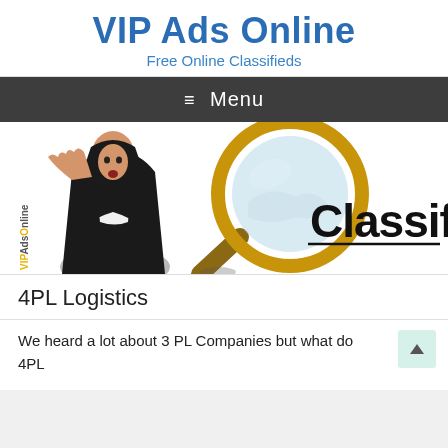VIP Ads Online
Free Online Classifieds
≡  Menu
[Figure (illustration): Banner image showing a woman with a magnifying glass beside the word 'Classifieds' with a VIPAdsOnline watermark on the left side]
4PL Logistics
We heard a lot about 3 PL Companies but what do 4PL Companies do? 4PL is short for Fourth Party Logistics...